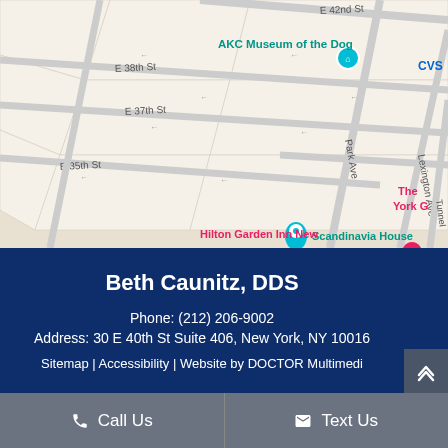[Figure (map): Google Maps view of Midtown Manhattan, New York, showing E 35th St, E 37th St, E 38th St, E 42nd St, Park Ave, Lexington Ave. Landmarks include AKC Museum of the Dog, The Morgan Library & Museum, Scandinavia House, Pod 39, Hilton Garden Inn New, CVS, The York G. Orange and teal map pins visible.]
Beth Caunitz, DDS
Phone: (212) 206-9002
Address: 30 E 40th St Suite 406, New York, NY 10016
Sitemap | Accessibility | Website by DOCTOR Multimedi
Call Us
Text Us